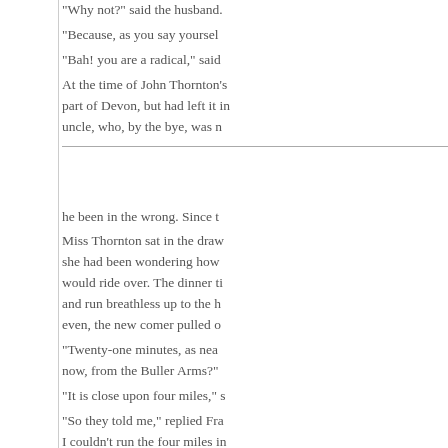"Why not?" said the husband.
"Because, as you say yourself,
"Bah! you are a radical," said
At the time of John Thornton's part of Devon, but had left it in uncle, who, by the bye, was n
he been in the wrong. Since t
Miss Thornton sat in the draw she had been wondering how would ride over. The dinner ti and run breathless up to the h even, the new comer pulled o
"Twenty-one minutes, as nea now, from the Buller Arms?"
"It is close upon four miles," s
"So they told me," replied Fra I couldn't run the four miles in up-hill, as you must allow."